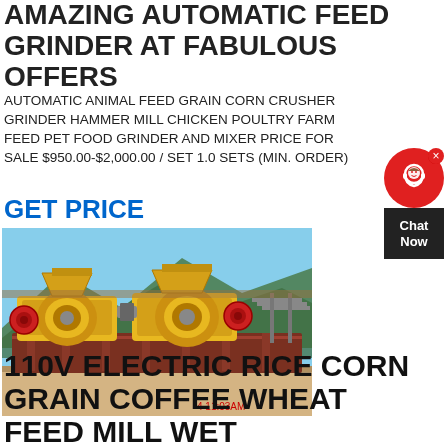AMAZING AUTOMATIC FEED GRINDER AT FABULOUS OFFERS
AUTOMATIC ANIMAL FEED GRAIN CORN CRUSHER GRINDER HAMMER MILL CHICKEN POULTRY FARM FEED PET FOOD GRINDER AND MIXER PRICE FOR SALE $950.00-$2,000.00 / SET 1.0 SETS (MIN. ORDER)
GET PRICE
[Figure (photo): Industrial yellow hammer mill / feed grinder machinery on a platform outdoors with mountains in background. Timestamp 4 11:03AM shown in red at bottom right of photo.]
110V ELECTRIC RICE CORN GRAIN COFFEE WHEAT FEED MILL WET